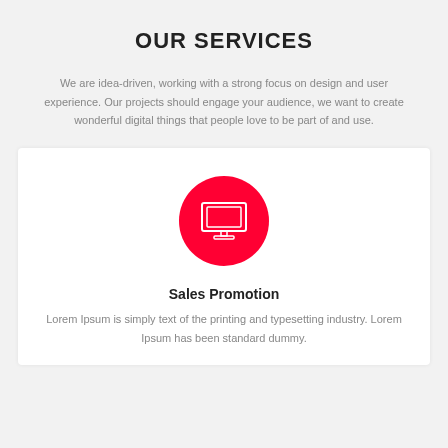OUR SERVICES
We are idea-driven, working with a strong focus on design and user experience. Our projects should engage your audience, we want to create wonderful digital things that people love to be part of and use.
[Figure (illustration): Pink/red circle with a white monitor/TV screen icon inside it]
Sales Promotion
Lorem Ipsum is simply text of the printing and typesetting industry. Lorem Ipsum has been standard dummy.